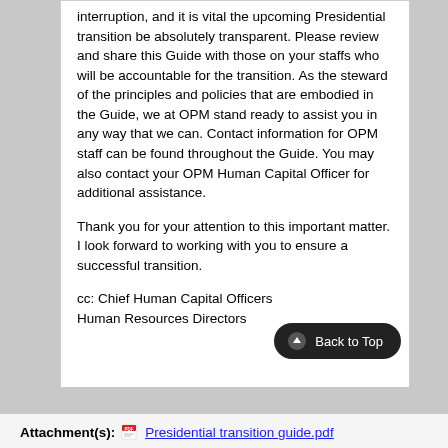interruption, and it is vital the upcoming Presidential transition be absolutely transparent. Please review and share this Guide with those on your staffs who will be accountable for the transition. As the steward of the principles and policies that are embodied in the Guide, we at OPM stand ready to assist you in any way that we can. Contact information for OPM staff can be found throughout the Guide. You may also contact your OPM Human Capital Officer for additional assistance.
Thank you for your attention to this important matter. I look forward to working with you to ensure a successful transition.
cc: Chief Human Capital Officers
Human Resources Directors
Attachment(s): Presidential transition guide.pdf